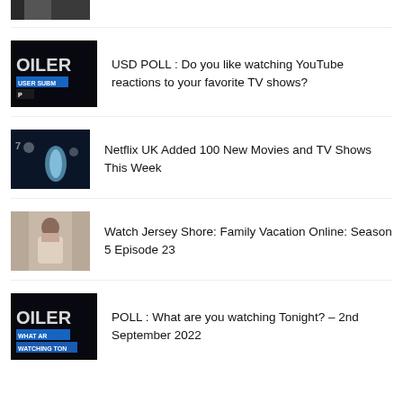[Figure (photo): Partial thumbnail image at top, dark/grayscale, clipped]
USD POLL : Do you like watching YouTube reactions to your favorite TV shows?
Netflix UK Added 100 New Movies and TV Shows This Week
Watch Jersey Shore: Family Vacation Online: Season 5 Episode 23
POLL : What are you watching Tonight? – 2nd September 2022